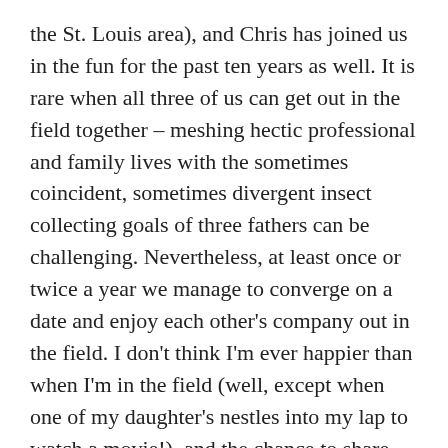the St. Louis area), and Chris has joined us in the fun for the past ten years as well. It is rare when all three of us can get out in the field together – meshing hectic professional and family lives with the sometimes coincident, sometimes divergent insect collecting goals of three fathers can be challenging. Nevertheless, at least once or twice a year we manage to converge on a date and enjoy each other's company out in the field. I don't think I'm ever happier than when I'm in the field (well, except when one of my daughter's nestles into my lap to watch a movie!), and the chance to share that experience with close friends of like interest is especially gratifying.
Chris is quite an accomplished insect photographer himself, having been at it for much longer than I've known him and providing me great coaching as I've